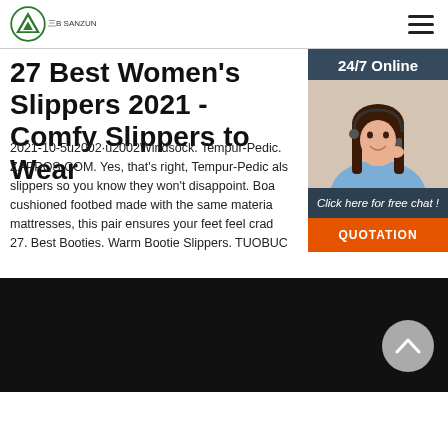三B SANZUN | hamburger menu
27 Best Women's Slippers 2021 - Comfy Slippers to Wear
2021-10-5u2002·u2002Windsock. Tempur-Pedic. ZAPPOS.COM. Yes, that's right, Tempur-Pedic als slippers so you know they won't disappoint. Boa cushioned footbed made with the same materia mattresses, this pair ensures your feet feel crad 27. Best Booties. Warm Bootie Slippers. TUOBUC
Get Price
[Figure (other): 24/7 Online chat widget with customer service representative photo, 'Click here for free chat!' text, and orange QUOTATION button]
[Figure (other): Black section at the bottom of the page with a grey circular scroll-to-top button with an up arrow]